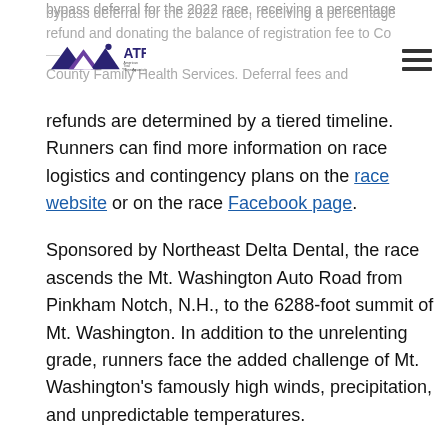bypass deferral for the 2022 race, receiving a percentage refund and donating the balance of registration fee to Co County Family Health Services. Deferral fees and
refunds are determined by a tiered timeline. Runners can find more information on race logistics and contingency plans on the race website or on the race Facebook page.
Sponsored by Northeast Delta Dental, the race ascends the Mt. Washington Auto Road from Pinkham Notch, N.H., to the 6288-foot summit of Mt. Washington. In addition to the unrelenting grade, runners face the added challenge of Mt. Washington’s famously high winds, precipitation, and unpredictable temperatures.
Prizes include $1000 apiece for the first male and female finishers, smaller cash prizes for the next five men and women and the top three male and female masters (over 40), prizes for the first male and female finishers from New Hampshire, and a $5000 bonus for setting a new course record.